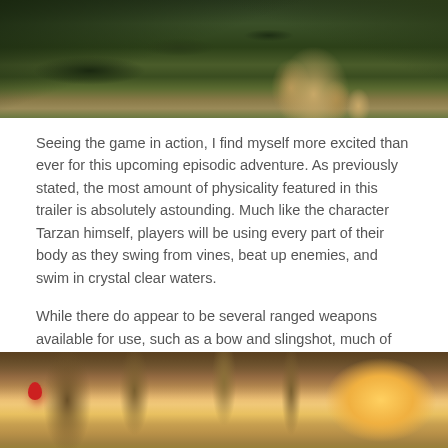[Figure (photo): Top portion of a dark jungle/forest scene with green foliage and what appears to be an animal or figure among the trees]
Seeing the game in action, I find myself more excited than ever for this upcoming episodic adventure. As previously stated, the most amount of physicality featured in this trailer is absolutely astounding. Much like the character Tarzan himself, players will be using every part of their body as they swing from vines, beat up enemies, and swim in crystal clear waters.
While there do appear to be several ranged weapons available for use, such as a bow and slingshot, much of the experience appears to rely upon hand-to-hand combat. In terms of enemies, players will be going head-to-head with both human threats as well as various wildlife, such as enormous man-eating spiders.
[Figure (photo): Bottom jungle scene with warm orange/golden lighting through trees, showing what appears to be a forest canopy with sunlight and a red element in the lower left area]